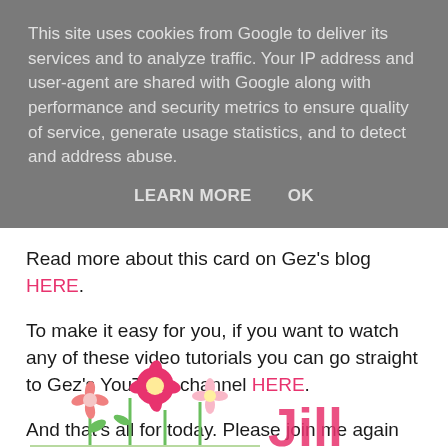This site uses cookies from Google to deliver its services and to analyze traffic. Your IP address and user-agent are shared with Google along with performance and security metrics to ensure quality of service, generate usage statistics, and to detect and address abuse.
LEARN MORE   OK
Read more about this card on Gez's blog HERE.
To make it easy for you, if you want to watch any of these video tutorials you can go straight to Gez's YouTube channel HERE.
And that's all for today. Please join me again soon. Til then, bye,
[Figure (illustration): Decorative flowers and partial signature/name at the bottom of the page]